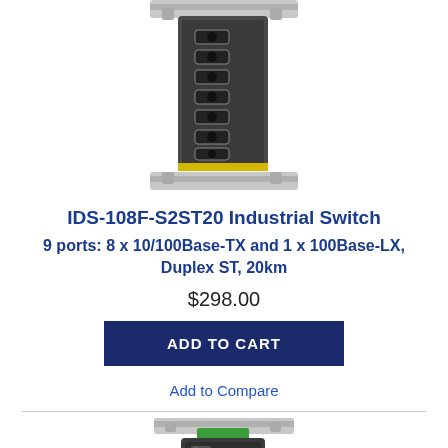[Figure (photo): Industrial network switch device (IDS-108F-S2ST20) mounted on DIN rail, viewed from front/side, showing multiple fiber/RJ45 ports, gray metal enclosure with yellow stripe at bottom]
IDS-108F-S2ST20 Industrial Switch
9 ports: 8 x 10/100Base-TX and 1 x 100Base-LX, Duplex ST, 20km
$298.00
ADD TO CART
Add to Compare
[Figure (photo): Smaller industrial network switch device mounted on DIN rail, showing front view with Ethernet ports and Perle logo, dark gray enclosure with green terminal block on top]